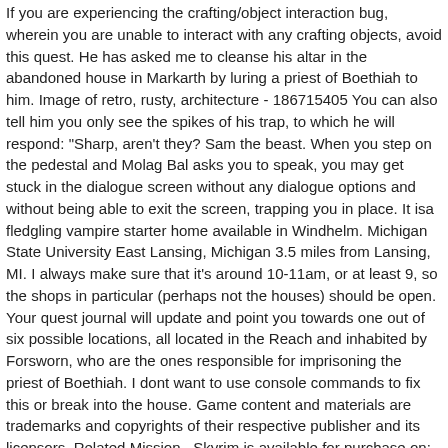If you are experiencing the crafting/object interaction bug, wherein you are unable to interact with any crafting objects, avoid this quest. He has asked me to cleanse his altar in the abandoned house in Markarth by luring a priest of Boethiah to him. Image of retro, rusty, architecture - 186715405 You can also tell him you only see the spikes of his trap, to which he will respond: "Sharp, aren't they? Sam the beast. When you step on the pedestal and Molag Bal asks you to speak, you may get stuck in the dialogue screen without any dialogue options and without being able to exit the screen, trapping you in place. It isa fledgling vampire starter home available in Windhelm. Michigan State University East Lansing, Michigan 3.5 miles from Lansing, MI. I always make sure that it's around 10-11am, or at least 9, so the shops in particular (perhaps not the houses) should be open. Your quest journal will update and point you towards one out of six possible locations, all located in the Reach and inhabited by Forsworn, who are the ones responsible for imprisoning the priest of Boethiah. I dont want to use console commands to fix this or break into the house. Game content and materials are trademarks and copyrights of their respective publisher and its licensors. Related Mission . Skyrim is available for purchase on: Playstation Store and Amazon. Tyranus, a Vigilant of Stendarr, is investigating an old, abandoned house in Markarth. The sprawling Kerry Manor has stood abandoned for nearly a century. Outside there is a grindstone, and on the eastern side of the house two Snow Bear Bolts and a knapsack ~600 value (L 72). The Abandoned House is a location